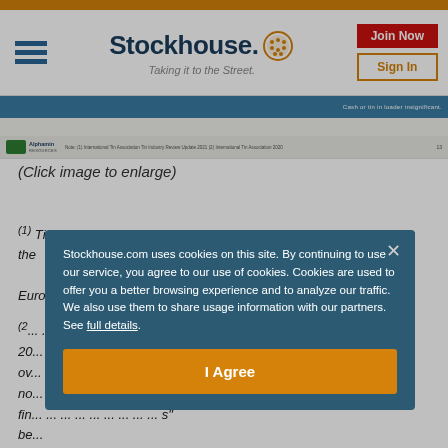Stockhouse - Taking it to the Street
[Figure (screenshot): Partial view of a financial report slide showing Alphamin Resources branding with a blue header bar and footnote area]
(Click image to enlarge)
(1) Tin is classified as a critical mineral in the United States, but not in the European Union.
(2) ... (partially obscured by cookie modal)
Stockhouse.com uses cookies on this site. By continuing to use our service, you agree to our use of cookies. Cookies are used to offer you a better browsing experience and to analyze our traffic. We also use them to share usage information with our partners. See full details.